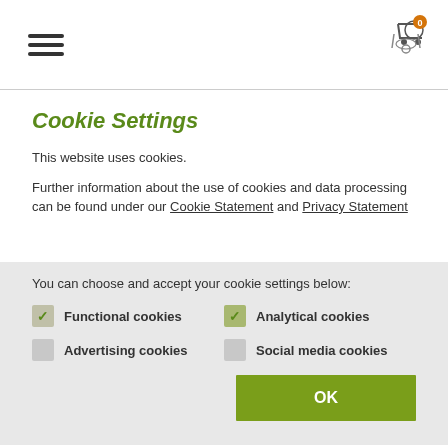[Figure (illustration): Hamburger menu icon (three horizontal lines) in top left, and a shopping cart icon with orange badge showing '0' in top right]
Cookie Settings
This website uses cookies.
Further information about the use of cookies and data processing can be found under our Cookie Statement and Privacy Statement
You can choose and accept your cookie settings below:
Functional cookies (checked)
Analytical cookies (checked)
Advertising cookies (unchecked)
Social media cookies (unchecked)